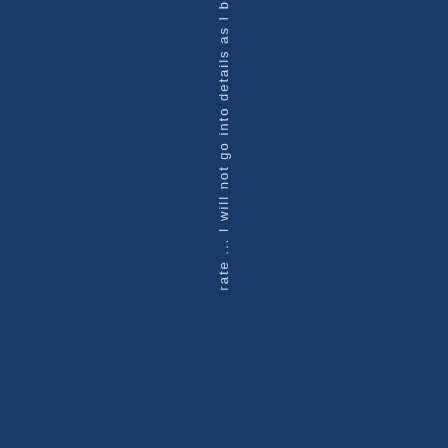rate ... I will not go into details as I b